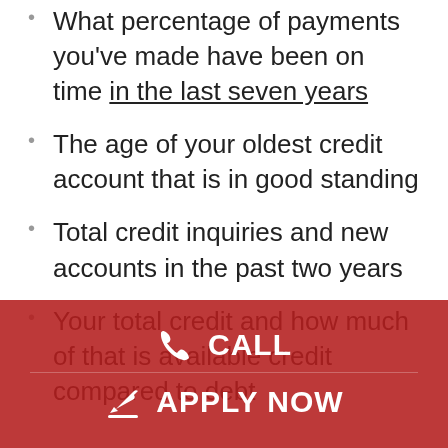What percentage of payments you've made have been on time in the last seven years
The age of your oldest credit account that is in good standing
Total credit inquiries and new accounts in the past two years
Your total credit and how much of that is available credit compared to debt
Steps to improve your credit score
Though negative marks on your credit could affect it for years, there are steps you can take that will have positive short-term effects on your credit score, while also curating your credit profile for the
[Figure (other): Red overlay banner with CALL and APPLY NOW buttons]